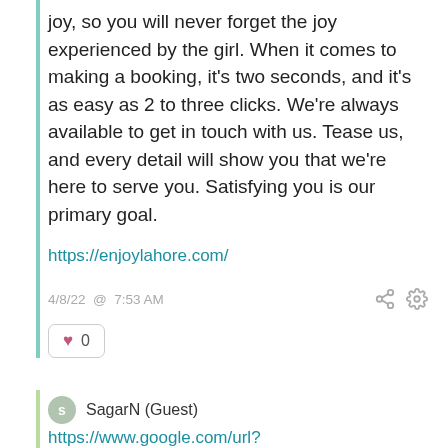joy, so you will never forget the joy experienced by the girl. When it comes to making a booking, it's two seconds, and it's as easy as 2 to three clicks. We're always available to get in touch with us. Tease us, and every detail will show you that we're here to serve you. Satisfying you is our primary goal.
https://enjoylahore.com/
4/8/22 @ 7:53 AM
♥ 0
SagarN (Guest)
https://www.google.com/url?sa=…ecuriumsolutions.org